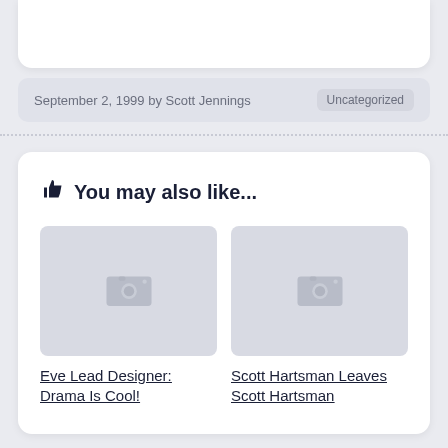September 2, 1999 by Scott Jennings  Uncategorized
👍 You may also like...
[Figure (illustration): Placeholder image thumbnail for Eve Lead Designer: Drama Is Cool!]
[Figure (illustration): Placeholder image thumbnail for Scott Hartsman Leaves Scott Hartsman]
Eve Lead Designer: Drama Is Cool!
Scott Hartsman Leaves Scott Hartsman